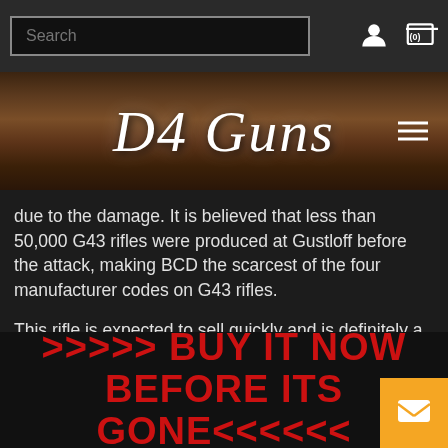Search | user icon | cart (0)
[Figure (logo): D4 Guns logo in cursive script on a dark wood background with hamburger menu icon]
due to the damage. It is believed that less than 50,000 G43 rifles were produced at Gustloff before the attack, making BCD the scarcest of the four manufacturer codes on G43 rifles.
This rifle is expected to sell quickly and is definitely a rare and possibly once-in-a-lifetime opportunity to purchase this type of rifle.
>>>>> BUY IT NOW BEFORE ITS GONE<<<<<